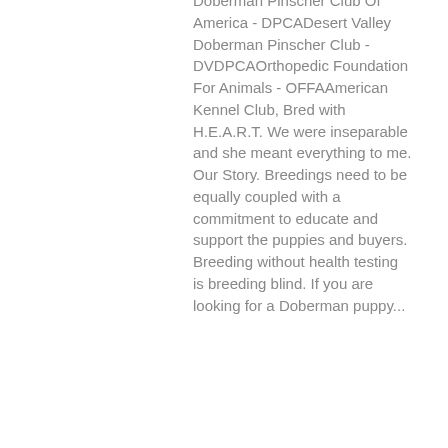Doberman Pinscher Club Of America - DPCADesert Valley Doberman Pinscher Club - DVDPCAOrthopedic Foundation For Animals - OFFAAmerican Kennel Club, Bred with H.E.A.R.T. We were inseparable and she meant everything to me. Our Story. Breedings need to be equally coupled with a commitment to educate and support the puppies and buyers. Breeding without health testing is breeding blind. If you are looking for a Doberman puppy...